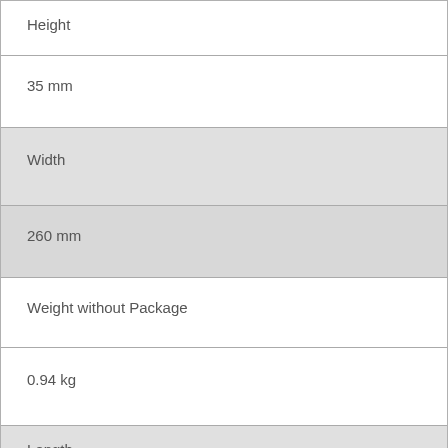| Height |
| 35 mm |
| Width |
| 260 mm |
| Weight without Package |
| 0.94 kg |
| Length |